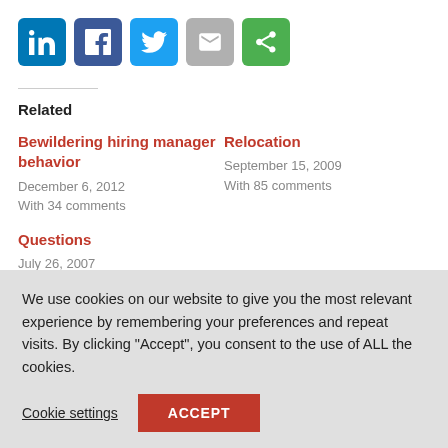[Figure (other): Social sharing icons row: LinkedIn (blue), Facebook (dark blue), Twitter (light blue), Email (grey), Share (green)]
Related
Bewildering hiring manager behavior
December 6, 2012
With 34 comments
Relocation
September 15, 2009
With 85 comments
Questions
July 26, 2007
We use cookies on our website to give you the most relevant experience by remembering your preferences and repeat visits. By clicking “Accept”, you consent to the use of ALL the cookies.